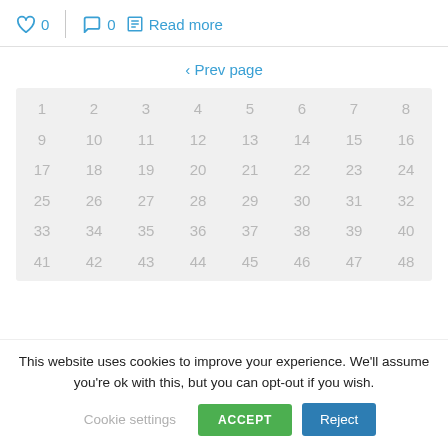♡ 0  |  ○ 0  □ Read more
‹ Prev page
[Figure (other): A grid of numbers from 1 to 48 arranged in rows of 8, displayed on a light gray background. Numbers are shown in light gray text.]
This website uses cookies to improve your experience. We'll assume you're ok with this, but you can opt-out if you wish. Cookie settings  ACCEPT  Reject